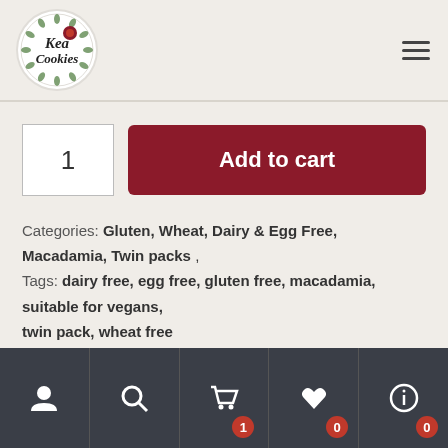[Figure (logo): Kea Cookies circular logo with floral decoration]
Add to cart (quantity: 1)
Categories: Gluten, Wheat, Dairy & Egg Free, Macadamia, Twin packs , Tags: dairy free, egg free, gluten free, macadamia, suitable for vegans, twin pack, wheat free
Description
User | Search | Cart (1) | Wishlist (0) | Info (0)